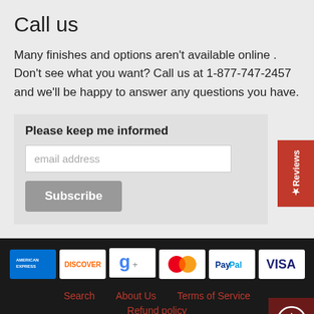Call us
Many finishes and options aren't available online . Don't see what you want? Call us at 1-877-747-2457 and we'll be happy to answer any questions you have.
Please keep me informed
[Figure (screenshot): Email subscription form with email address input field and Subscribe button]
[Figure (infographic): Payment method icons: American Express, Discover, Google, MasterCard, PayPal, Visa]
Search   About Us   Terms of Service   Refund policy